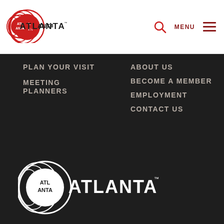[Figure (logo): Atlanta Convention & Visitors Bureau logo in red on white background, top left header]
MENU ☰
PLAN YOUR VISIT
MEETING PLANNERS
ABOUT US
BECOME A MEMBER
EMPLOYMENT
CONTACT US
[Figure (logo): Atlanta Convention & Visitors Bureau logo in white on dark background, large footer logo]
Established in 1913, Atlanta Convention &